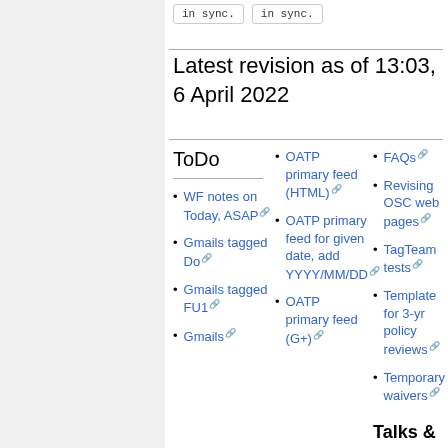in sync.
in sync.
Latest revision as of 13:03, 6 April 2022
ToDo
WF notes on Today, ASAP
Gmails tagged Do
Gmails tagged FU1
Gmails
OATP primary feed (HTML)
OATP primary feed for given date, add YYYY/MM/DD
OATP primary feed (G+)
FAQs
Revising OSC web pages
TagTeam tests
Template for 3-yr policy reviews
Temporary waivers
Talks &